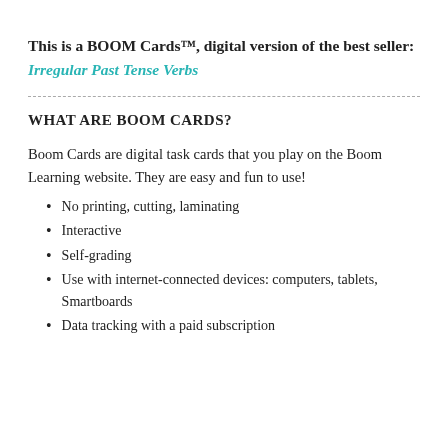This is a BOOM Cards™, digital version of the best seller: Irregular Past Tense Verbs
WHAT ARE BOOM CARDS?
Boom Cards are digital task cards that you play on the Boom Learning website. They are easy and fun to use!
No printing, cutting, laminating
Interactive
Self-grading
Use with internet-connected devices: computers, tablets, Smartboards
Data tracking with a paid subscription